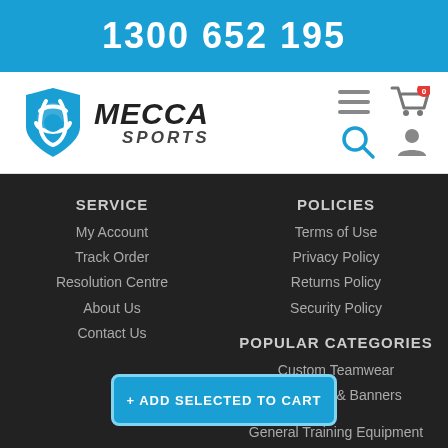1300 652 195
[Figure (logo): Mecca Sports logo with blue shield icon and bold italic MECCA SPORTS text]
[Figure (infographic): Navigation icons: hamburger menu, shopping cart with 0 badge, search icon, user account icon]
SERVICE
My Account
Track Order
Resolution Centre
About Us
Contact Us
POLICIES
Terms of Use
Privacy Policy
Returns Policy
Security Policy
POPULAR CATEGORIES
Custom Teamwear
Marquees & Banners
+ ADD SELECTED TO CART
General Training Equipment